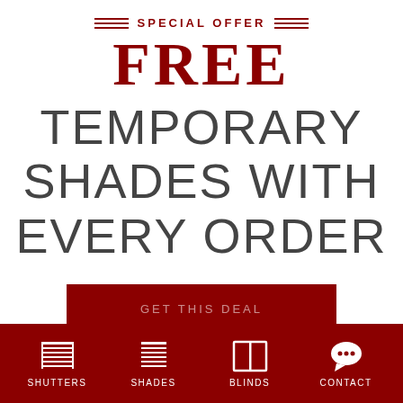SPECIAL OFFER
FREE
TEMPORARY SHADES WITH EVERY ORDER
GET THIS DEAL
SHUTTERS
SHADES
BLINDS
CONTACT